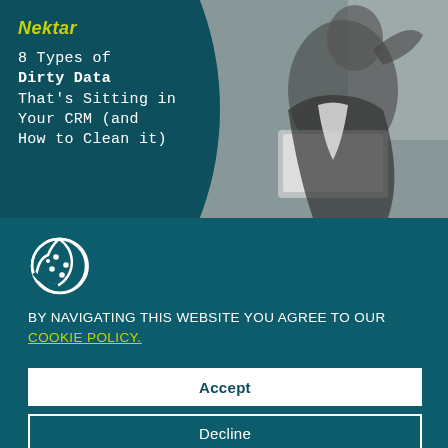[Figure (screenshot): Nektar brand cover image showing a man working on a laptop in a dark teal background with the title text overlay. A cookie consent modal overlays the bottom half of the page.]
Nektar
8 Types of Dirty Data That's Sitting in Your CRM (and How to Clean it)
[Figure (illustration): Cookie icon (circle with bite taken out and dots inside), white outline on teal background]
BY NAVIGATING THIS WEBSITE YOU AGREE TO OUR COOKIE POLICY.
Accept
Decline